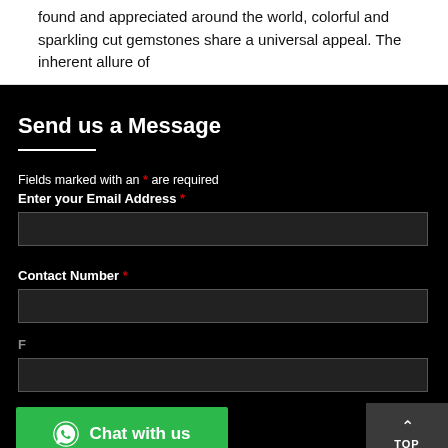found and appreciated around the world, colorful and sparkling cut gemstones share a universal appeal. The inherent allure of
Send us a Message
Fields marked with an * are required
Enter your Email Address *
Contact Number *